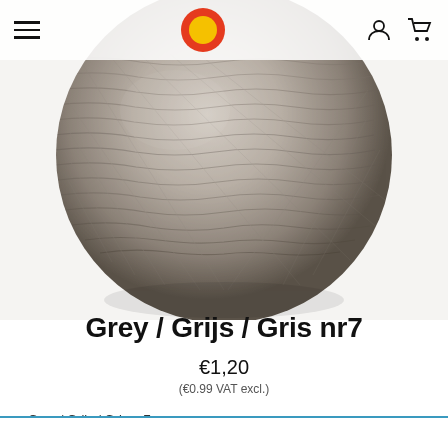[Figure (photo): A spherical woven cotton ball lamp shade in grey/taupe color on white background]
Grey / Grijs / Gris nr7
€1,20
(€0.99 VAT excl.)
Grey / Grijs / Gris nr7